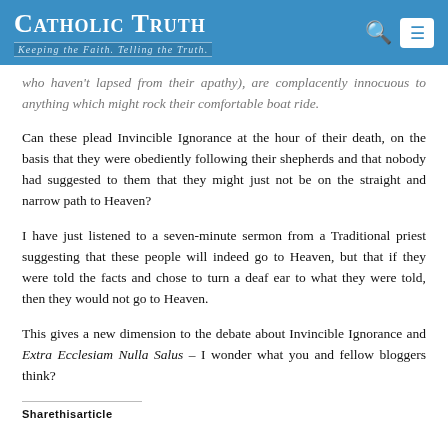Catholic Truth – Keeping the Faith. Telling the Truth.
who haven't lapsed from their apathy), are complacently innocuous to anything which might rock their comfortable boat ride.
Can these plead Invincible Ignorance at the hour of their death, on the basis that they were obediently following their shepherds and that nobody had suggested to them that they might just not be on the straight and narrow path to Heaven?
I have just listened to a seven-minute sermon from a Traditional priest suggesting that these people will indeed go to Heaven, but that if they were told the facts and chose to turn a deaf ear to what they were told, then they would not go to Heaven.
This gives a new dimension to the debate about Invincible Ignorance and Extra Ecclesiam Nulla Salus – I wonder what you and fellow bloggers think?
Sharethisarticle